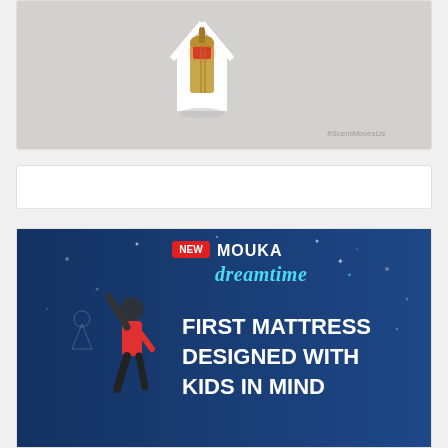[Figure (photo): A decorative Moroccan-style gold lantern placed inside a white house-shaped cutout on a gray background, with hashtag #ScentMovesUs in bottom right corner]
[Figure (photo): Empty white card/banner area]
[Figure (advertisement): Mouka Dreamtime mattress advertisement on a dark blue background with stars/space theme. Shows a child in red shirt with arm raised. Text reads: NEW MOUKA dreamtime - FIRST MATTRESS DESIGNED WITH KIDS IN MIND]